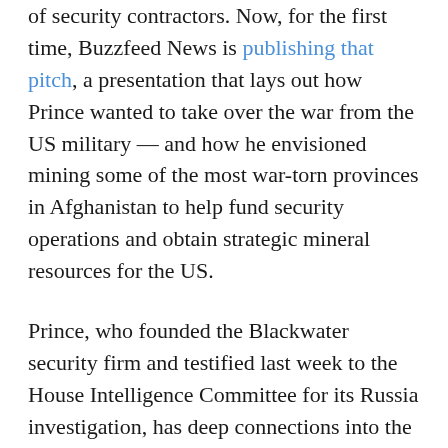of security contractors. Now, for the first time, Buzzfeed News is publishing that pitch, a presentation that lays out how Prince wanted to take over the war from the US military — and how he envisioned mining some of the most war-torn provinces in Afghanistan to help fund security operations and obtain strategic mineral resources for the US.
Prince, who founded the Blackwater security firm and testified last week to the House Intelligence Committee for its Russia investigation, has deep connections into the current White House: He's friends with former presidential adviser Stephen Bannon, and he's the brother of Betsy DeVos, the education secretary.